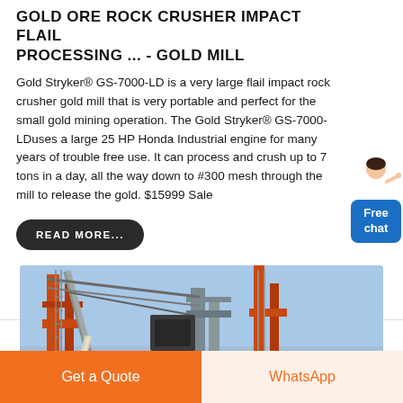GOLD ORE ROCK CRUSHER IMPACT FLAIL PROCESSING ... - GOLD MILL
Gold Stryker® GS-7000-LD is a very large flail impact rock crusher gold mill that is very portable and perfect for the small gold mining operation. The Gold Stryker® GS-7000-LDuses a large 25 HP Honda Industrial engine for many years of trouble free use. It can process and crush up to 7 tons in a day, all the way down to #300 mesh through the mill to release the gold. $15999 Sale
READ MORE...
[Figure (photo): Industrial gold ore rock crusher equipment with orange steel frame and conveyor structure against a blue sky]
Get a Quote
WhatsApp